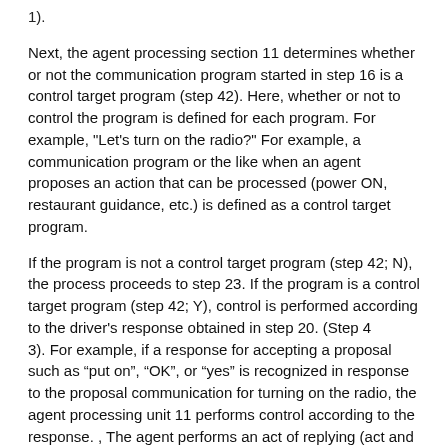1).
Next, the agent processing section 11 determines whether or not the communication program started in step 16 is a control target program (step 42). Here, whether or not to control the program is defined for each program. For example, "Let's turn on the radio?" For example, a communication program or the like when an agent proposes an action that can be processed (power ON, restaurant guidance, etc.) is defined as a control target program.
If the program is not a control target program (step 42; N), the process proceeds to step 23. If the program is a control target program (step 42; Y), control is performed according to the driver's response obtained in step 20. (Step 4
3). For example, if a response for accepting a proposal such as “put on”, “OK”, or “yes” is recognized in response to the proposal communication for turning on the radio, the agent processing unit 11 performs control according to the response. , The agent performs an act of replying (act and voice) and turns on the power of the radio.